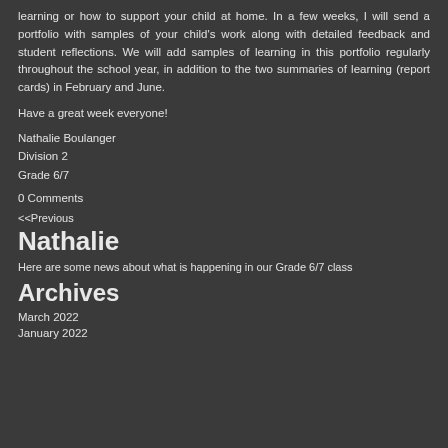learning or how to support your child at home. In a few weeks, I will send a portfolio with samples of your child's work along with detailed feedback and student reflections. We will add samples of learning in this portfolio regularly throughout the school year, in addition to the two summaries of learning (report cards) in February and June.
Have a great week everyone!
Nathalie Boulanger
Division 2
Grade 6/7
0 Comments
<<Previous
Nathalie
Here are some news about what is happening in our Grade 6/7 class
Archives
March 2022
January 2022